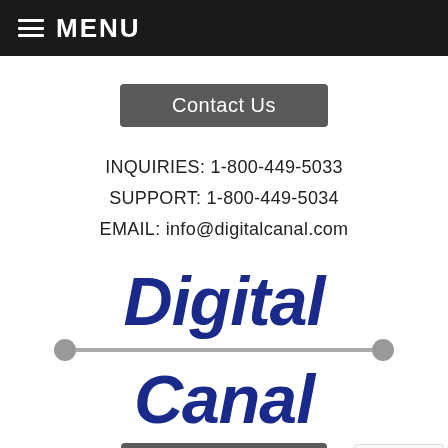≡ MENU
Contact Us
INQUIRIES: 1-800-449-5033
SUPPORT: 1-800-449-5034
EMAIL: info@digitalcanal.com
[Figure (logo): Digital Canal company logo in bold dark blue italic text with a horizontal line divider between 'Digital' and 'Canal']
SITE MAP